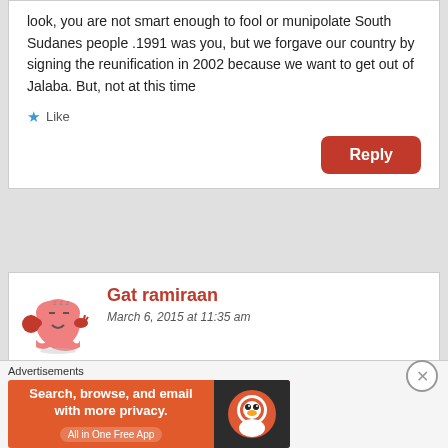look, you are not smart enough to fool or munipolate South Sudanes people .1991 was you, but we forgave our country by signing the reunification in 2002 because we want to get out of Jalaba. But, not at this time
★ Like
Reply
Gat ramiraan
March 6, 2015 at 11:35 am
Advertisements
[Figure (illustration): DuckDuckGo advertisement banner: orange background with text 'Search, browse, and email with more privacy. All in One Free App' and DuckDuckGo logo on dark right panel]